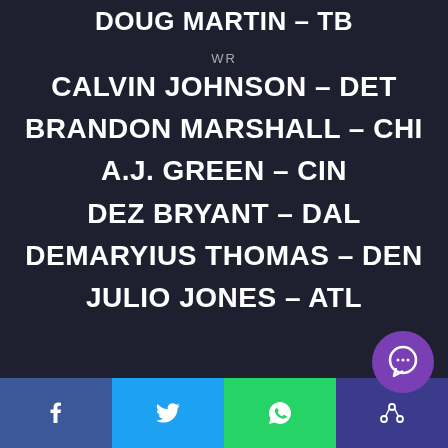DOUG MARTIN – TB
WR
CALVIN JOHNSON – DET
BRANDON MARSHALL – CHI
A.J. GREEN – CIN
DEZ BRYANT – DAL
DEMARYIUS THOMAS – DEN
JULIO JONES – ATL